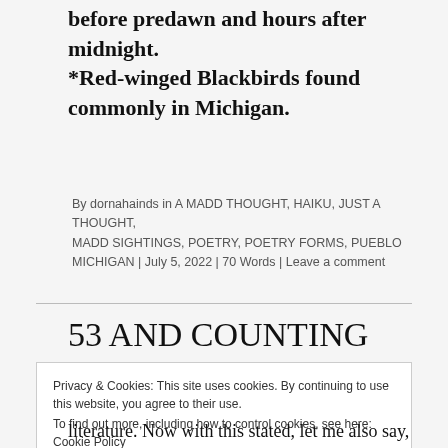before predawn and hours after midnight. *Red-winged Blackbirds found commonly in Michigan.
By dornahainds in A MADD THOUGHT, HAIKU, JUST A THOUGHT, MADD SIGHTINGS, POETRY, POETRY FORMS, PUEBLO MICHIGAN | July 5, 2022 | 70 Words | Leave a comment
53 AND COUNTING
Privacy & Cookies: This site uses cookies. By continuing to use this website, you agree to their use. To find out more, including how to control cookies, see here: Cookie Policy
Close and accept
literature. Now with this stated, let me also say,